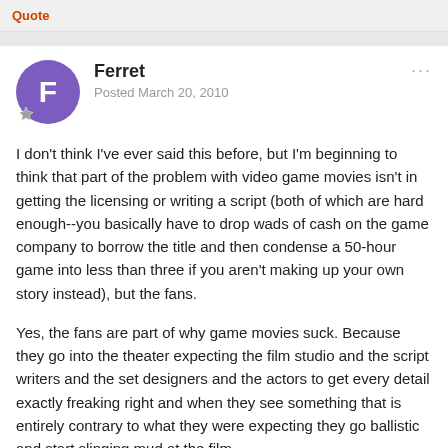Quote
Ferret
Posted March 20, 2010
I don't think I've ever said this before, but I'm beginning to think that part of the problem with video game movies isn't in getting the licensing or writing a script (both of which are hard enough--you basically have to drop wads of cash on the game company to borrow the title and then condense a 50-hour game into less than three if you aren't making up your own story instead), but the fans.
Yes, the fans are part of why game movies suck. Because they go into the theater expecting the film studio and the script writers and the set designers and the actors to get every detail exactly freaking right and when they see something that is entirely contrary to what they were expecting they go ballistic and start slinging mud at the film.
If taken as separate from the series that they are based on video game movies can be good, even enjoyable. What makes them fail is, like every other movie, the people that go see it. The people that hate this element or that and based on their own preferences tell their friends and